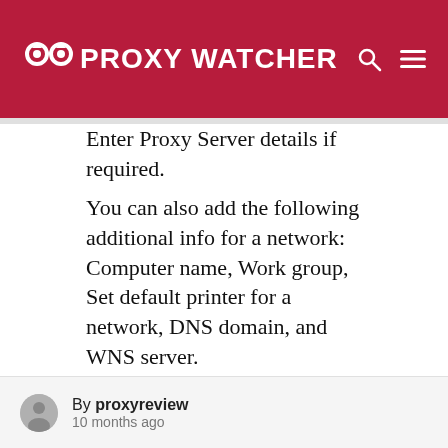PROXY WATCHER
Enter Proxy Server details if required.
You can also add the following additional info for a network: Computer name, Work group, Set default printer for a network, DNS domain, and WNS server.
The same way, you can create multiple profiles for the networks you connect to. All it takes to switch from one network to another is a simple click on a profile to activate it.
Free IP Switcher is a very simple tool to let you
By proxyreview
10 months ago